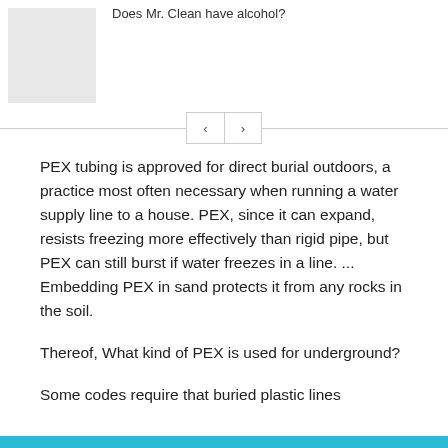[Figure (photo): Thumbnail image placeholder (grey rectangle) in the top-left corner of the page]
Does Mr. Clean have alcohol?
[Figure (other): Navigation pagination buttons with left < and right > arrows, separated by a horizontal divider line]
PEX tubing is approved for direct burial outdoors, a practice most often necessary when running a water supply line to a house. PEX, since it can expand, resists freezing more effectively than rigid pipe, but PEX can still burst if water freezes in a line. ... Embedding PEX in sand protects it from any rocks in the soil.
Thereof, What kind of PEX is used for underground?
Some codes require that buried plastic lines